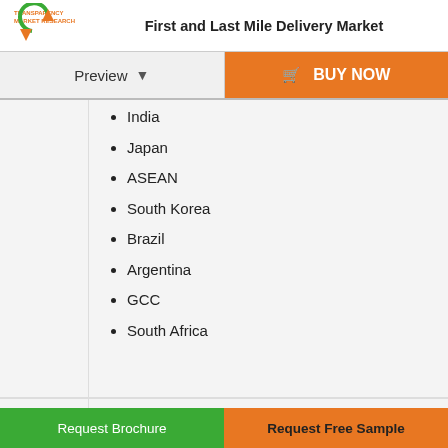First and Last Mile Delivery Market
India
Japan
ASEAN
South Korea
Brazil
Argentina
GCC
South Africa
FedEx Corporation
DHL Global Forwarding
Cargo Carriers Limited
J&J Global Limited
Request Brochure | Request Free Sample